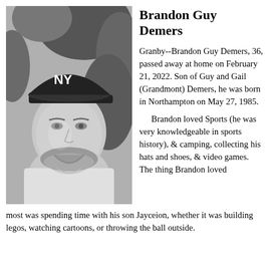[Figure (photo): Black and white portrait photo of a young man wearing a NY Yankees baseball cap and a white t-shirt with a chain necklace, smiling, with foliage in the background]
Brandon Guy Demers
Granby--Brandon Guy Demers, 36, passed away at home on February 21, 2022. Son of Guy and Gail (Grandmont) Demers, he was born in Northampton on May 27, 1985.
Brandon loved Sports (he was very knowledgeable in sports history), & camping, collecting his hats and shoes, & video games. The thing Brandon loved most was spending time with his son Jayceion, whether it was building legos, watching cartoons, or throwing the ball outside.